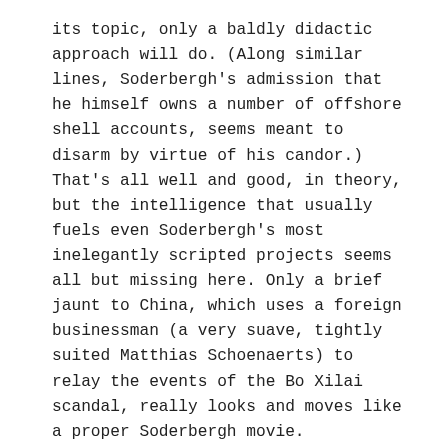its topic, only a baldly didactic approach will do. (Along similar lines, Soderbergh's admission that he himself owns a number of offshore shell accounts, seems meant to disarm by virtue of his candor.) That's all well and good, in theory, but the intelligence that usually fuels even Soderbergh's most inelegantly scripted projects seems all but missing here. Only a brief jaunt to China, which uses a foreign businessman (a very suave, tightly suited Matthias Schoenaerts) to relay the events of the Bo Xilai scandal, really looks and moves like a proper Soderbergh movie.
Jeanne, on the other hand, Bruno Dumont's sequel to 2017's Jeannette: The Childhood of Joan of Arc, is a Bruno Dumont movie through and